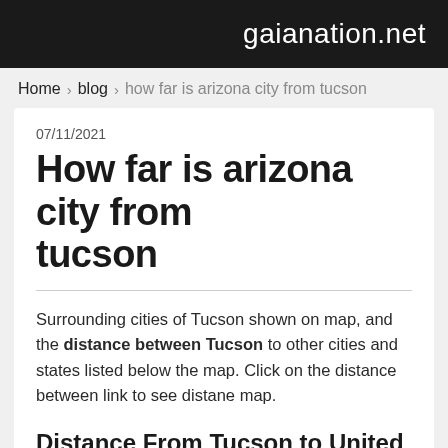gaianation.net
Home › blog › how far is arizona city from tucson
07/11/2021
How far is arizona city from tucson
Surrounding cities of Tucson shown on map, and the distance between Tucson to other cities and states listed below the map. Click on the distance between link to see distane map.
Distance From Tucson to United States Cities